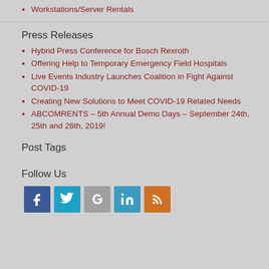Workstations/Server Rentals
Press Releases
Hybrid Press Conference for Bosch Rexroth
Offering Help to Temporary Emergency Field Hospitals
Live Events Industry Launches Coalition in Fight Against COVID-19
Creating New Solutions to Meet COVID-19 Related Needs
ABCOMRENTS – 5th Annual Demo Days – September 24th, 25th and 26th, 2019!
Post Tags
Follow Us
[Figure (infographic): Row of five social media icon buttons: Facebook (blue), Twitter (teal), Google+ (grey), LinkedIn (blue), RSS (orange)]